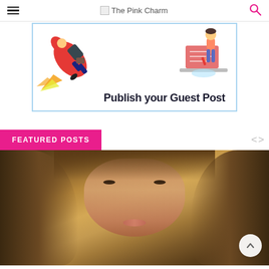The Pink Charm
[Figure (illustration): Advertisement banner with a cartoon rocket launching on the left, a person working at a desk on the right, and bold text reading 'Publish your Guest Post' in the center-bottom. The banner has a light blue border.]
FEATURED POSTS
[Figure (photo): Close-up portrait photo of a young woman with long wavy blonde-highlighted hair, dark eyes with makeup, and full lips. A circular scroll-up arrow button is visible in the lower right corner.]